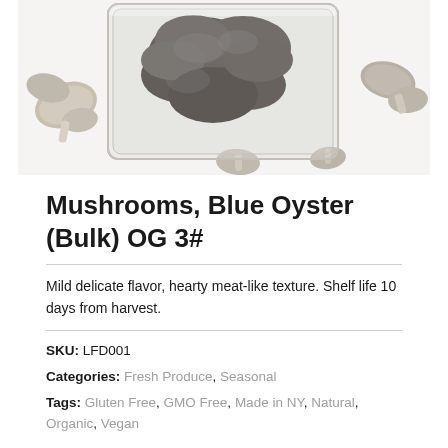[Figure (photo): Overhead photo of blue oyster mushrooms in a clear plastic container on a white background, with loose mushrooms scattered around the container.]
Mushrooms, Blue Oyster (Bulk) OG 3#
Mild delicate flavor, hearty meat-like texture. Shelf life 10 days from harvest.
SKU: LFD001
Categories: Fresh Produce, Seasonal
Tags: Gluten Free, GMO Free, Made in NY, Natural, Organic, Vegan